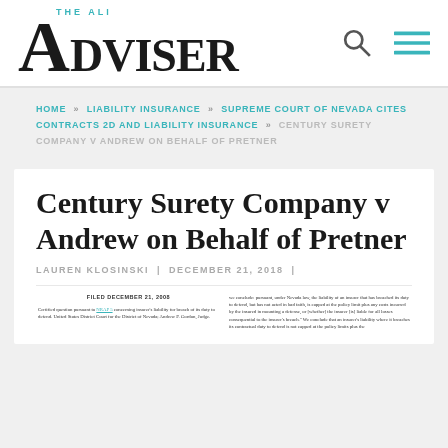THE ALI ADVISER
HOME » LIABILITY INSURANCE » SUPREME COURT OF NEVADA CITES CONTRACTS 2D AND LIABILITY INSURANCE » CENTURY SURETY COMPANY V ANDREW ON BEHALF OF PRETNER
Century Surety Company v Andrew on Behalf of Pretner
LAUREN KLOSINSKI | DECEMBER 21, 2018 |
[Figure (screenshot): Partial view of a court document filed December 21, 2008, with two columns of legal text discussing insurer's liability for breach of duty to defend.]